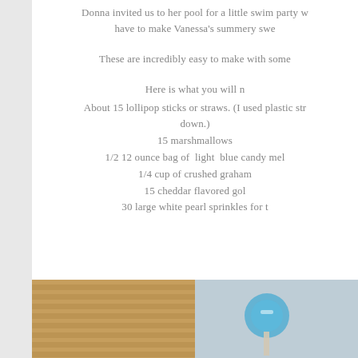Donna invited us to her pool for a little swim party w... have to make Vanessa's summery swe...
These are incredibly easy to make with some...
Here is what you will n...
About 15 lollipop sticks or straws. (I used plastic str... down.)
15 marshmallows
1/2 12 ounce bag of light blue candy mel...
1/4 cup of crushed graham...
15 cheddar flavored gol...
30 large white pearl sprinkles for t...
[Figure (photo): Two photos side by side: left shows wooden sticks/straws in a brown wooden holder; right shows a light blue candy-coated marshmallow pop on a stick against a light blue-grey background.]